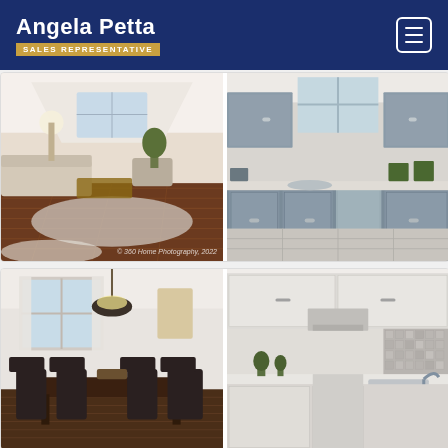Angela Petta — SALES REPRESENTATIVE
[Figure (photo): Two interior real estate photos side by side: left shows a living room with hardwood floors and modern furniture; right shows a kitchen with gray cabinets and tile floors. Watermark reads '360 Home Photography, 2022']
[Figure (photo): Two interior real estate photos side by side: left shows a dining room with a wooden table and pendant light; right shows a modern white kitchen with stone backsplash and stainless steel sink]